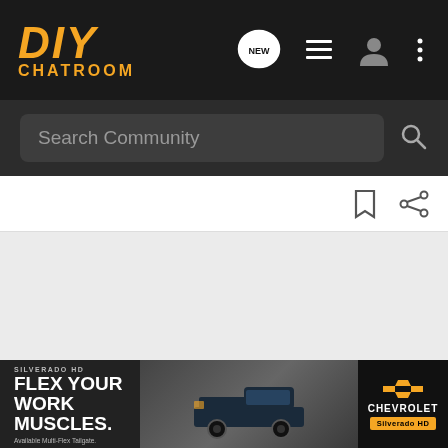DIY CHATROOM - navigation header with logo, new posts icon, list icon, user icon, menu icon
Search Community
[Figure (screenshot): Toolbar row with bookmark and share icons]
[Figure (photo): Chevrolet Silverado HD advertisement banner. Text: SILVERADO HD, FLEX YOUR WORK MUSCLES. Available Multi-Flex Tailgate. Chevrolet Silverado HD logo.]